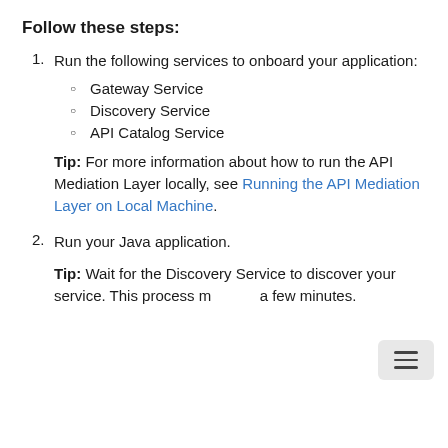Follow these steps:
Run the following services to onboard your application:
Gateway Service
Discovery Service
API Catalog Service
Tip: For more information about how to run the API Mediation Layer locally, see Running the API Mediation Layer on Local Machine.
Run your Java application.
Tip: Wait for the Discovery Service to discover your service. This process may take a few minutes.